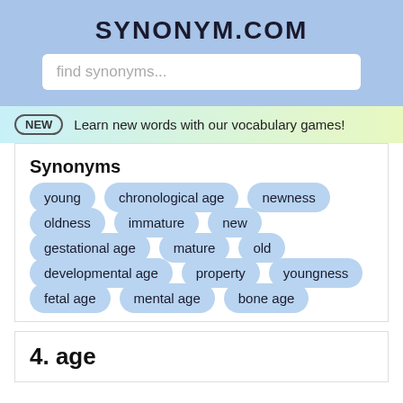SYNONYM.COM
find synonyms...
NEW — Learn new words with our vocabulary games!
Synonyms
young
chronological age
newness
oldness
immature
new
gestational age
mature
old
developmental age
property
youngness
fetal age
mental age
bone age
4. age